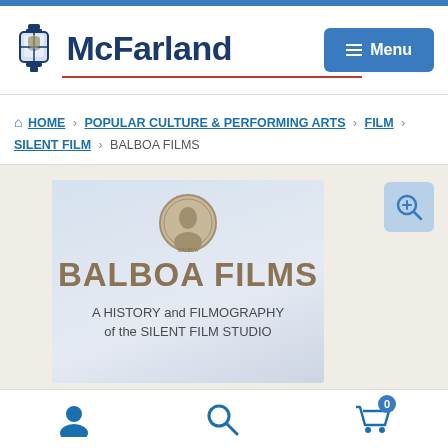[Figure (logo): McFarland publisher logo with lantern icon and bold text]
HOME > POPULAR CULTURE & PERFORMING ARTS > FILM > SILENT FILM > BALBOA FILMS
[Figure (illustration): Book cover for Balboa Films: A History and Filmography of the Silent Film Studio, showing a medallion portrait and stylized text]